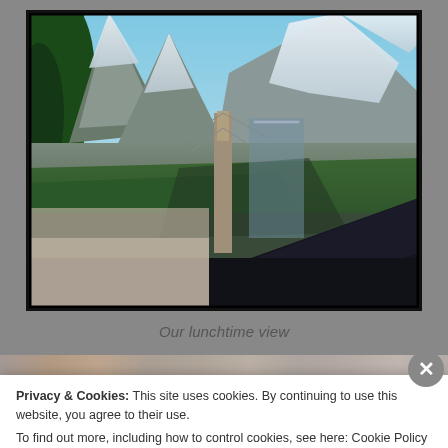[Figure (photo): Outdoor alpine scene showing snow-capped mountain peaks, green forested slopes, a rooftop in the foreground lower right, a tall utility pole or column in the center, and blue sky above. The photo appears to be taken from a restaurant or building terrace during lunchtime.]
Our lunchtime view
Privacy & Cookies: This site uses cookies. By continuing to use this website, you agree to their use.
To find out more, including how to control cookies, see here: Cookie Policy